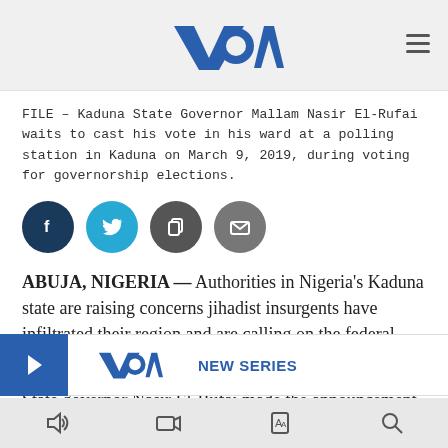VOA
FILE – Kaduna State Governor Mallam Nasir El-Rufai waits to cast his vote in his ward at a polling station in Kaduna on March 9, 2019, during voting for governorship elections.
[Figure (infographic): Social media share icons: Facebook (dark navy circle), Twitter (cyan circle), Copy (dark grey circle), Email (grey circle)]
ABUJA, NIGERIA — Authorities in Nigeria's Kaduna state are raising concerns jihadist insurgents have infiltrated their region and are calling on the federal government to intervene.
State governor Nasir El-Rufai made the announcement during a c...
[Figure (infographic): Promotional overlay banner with right arrow button in blue, VOA logo, and NEW SERIES text in blue]
Bottom navigation bar with audio, video, text, and search icons